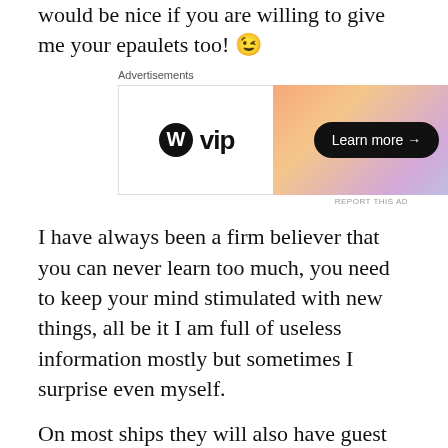would be nice if you are willing to give me your epaulets too! 😉
[Figure (other): Advertisement banner for WordPress VIP with 'Learn more →' button on an orange-purple gradient background]
I have always been a firm believer that you can never learn too much, you need to keep your mind stimulated with new things, all be it I am full of useless information mostly but sometimes I surprise even myself.
On most ships they will also have guest speakers; OK not every lecture will be to everyone's liking but just be aware of what's happening on your ship. Some talks can be very interesting. They range from destination talks all the way to gem stones and beyond. One of the talks on my cruise in November was about the importance of a correctly fitted